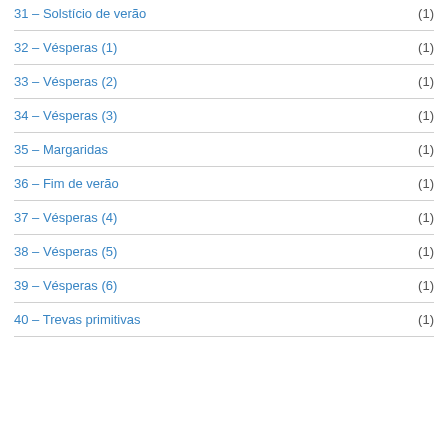31 – Solstício de verão  (1)
32 – Vésperas (1)  (1)
33 – Vésperas (2)  (1)
34 – Vésperas (3)  (1)
35 – Margaridas  (1)
36 – Fim de verão  (1)
37 – Vésperas (4)  (1)
38 – Vésperas (5)  (1)
39 – Vésperas (6)  (1)
40 – Trevas primitivas  (1)